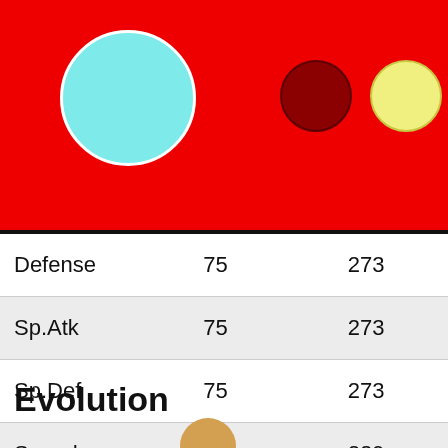[Figure (illustration): Red header background with a teal/cyan circle on the left (Pokemon sprite placeholder) and three colored circles (dark red, yellow-green, dark green) on the right]
| Defense | 75 | 273 |
| Sp.Atk | 75 | 273 |
| Sp.Def | 75 | 273 |
| Speed | 55 | 229 |
| Total | 500 | 1748 |
Evolution